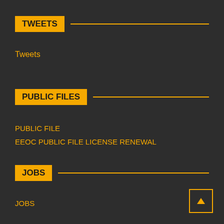TWEETS
Tweets
PUBLIC FILES
PUBLIC FILE
EEOC PUBLIC FILE LICENSE RENEWAL
JOBS
JOBS